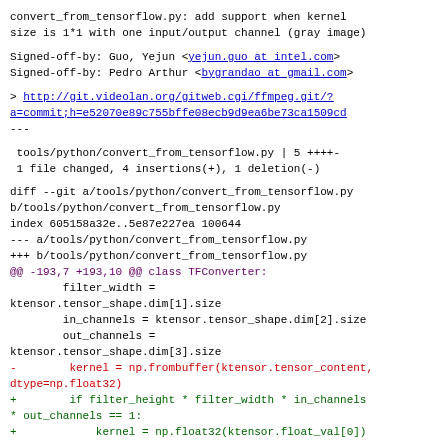convert_from_tensorflow.py: add support when kernel
size is 1*1 with one input/output channel (gray image)
Signed-off-by: Guo, Yejun <yejun.guo at intel.com>
Signed-off-by: Pedro Arthur <bygrandao at gmail.com>
> http://git.videolan.org/gitweb.cgi/ffmpeg.git/?a=commit;h=e52070e89c755bffe08ecb9d9ea6be73ca1509cd
---
tools/python/convert_from_tensorflow.py | 5 ++++- 
 1 file changed, 4 insertions(+), 1 deletion(-)
diff --git a/tools/python/convert_from_tensorflow.py
b/tools/python/convert_from_tensorflow.py
index 605158a32e..5e87e227ea 100644
--- a/tools/python/convert_from_tensorflow.py
+++ b/tools/python/convert_from_tensorflow.py
@@ -193,7 +193,10 @@ class TFConverter:
        filter_width =
ktensor.tensor_shape.dim[1].size
        in_channels = ktensor.tensor_shape.dim[2].size
        out_channels =
ktensor.tensor_shape.dim[3].size
-        kernel = np.frombuffer(ktensor.tensor_content,
dtype=np.float32)
+        if filter_height * filter_width * in_channels
* out_channels == 1:
+            kernel = np.float32(ktensor.float_val[0])